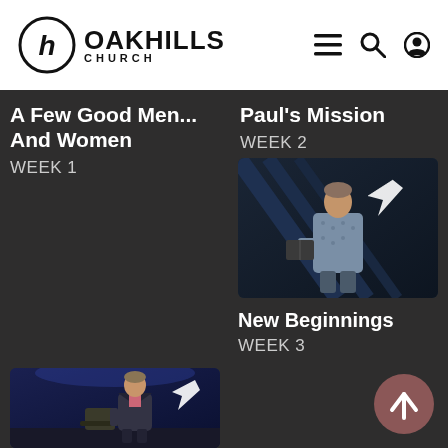Oak Hills Church
A Few Good Men... And Women
WEEK 1
Paul's Mission
WEEK 2
[Figure (photo): Man in patterned shirt holding a book on stage with a paper plane icon overlay]
New Beginnings
WEEK 3
[Figure (photo): Man in dark blazer on stage with a paper plane icon overlay]
[Figure (illustration): Circular scroll-to-top button with upward arrow in mauve/rose color]